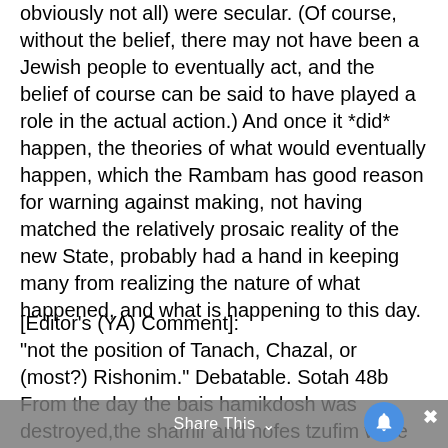obviously not all) were secular. (Of course, without the belief, there may not have been a Jewish people to eventually act, and the belief of course can be said to have played a role in the actual action.) And once it *did* happen, the theories of what would eventually happen, which the Rambam has good reason for warning against making, not having matched the relatively prosaic reality of the new State, probably had a hand in keeping many from realizing the nature of what happened, and what is happening to this day.
[Editor’s (YA) Comment]: “not the position of Tanach, Chazal, or (most?) Rishonim.” Debatable. Sotah 48b From the day the bais hamikdosh was destroyed,the shamir and nofes tzufim were
Share This